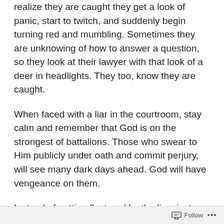realize they are caught they get a look of panic, start to twitch, and suddenly begin turning red and mumbling. Sometimes they are unknowing of how to answer a question, so they look at their lawyer with that look of a deer in headlights. They too, know they are caught.
When faced with a liar in the courtroom, stay calm and remember that God is on the strongest of battalions. Those who swear to Him publicly under oath and commit perjury, will see many dark days ahead. God will have vengeance on them.
Instead of getting flustered by the lies  just smile knowing that you will be okay. And for them… God will have His way. Leave it in His hands. The more
Follow